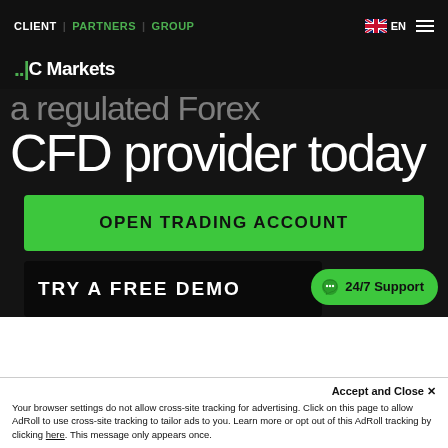CLIENT | PARTNERS | GROUP
[Figure (logo): IC Markets logo with green dots]
a regulated Forex CFD provider today
OPEN TRADING ACCOUNT
TRY A FREE DEMO
24/7 Support
Accept and Close ×
Your browser settings do not allow cross-site tracking for advertising. Click on this page to allow AdRoll to use cross-site tracking to tailor ads to you. Learn more or opt out of this AdRoll tracking by clicking here. This message only appears once.